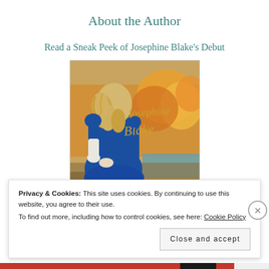About the Author
Read a Sneak Peek of Josephine Blake's Debut
[Figure (illustration): Book cover image for Josephine Blake romance novel showing a woman in a blue Victorian dress with long curly blonde hair, viewed from behind, with autumn foliage in the background and cursive text reading 'Josephine Blake' and smaller text below.]
Privacy & Cookies: This site uses cookies. By continuing to use this website, you agree to their use.
To find out more, including how to control cookies, see here: Cookie Policy
Close and accept